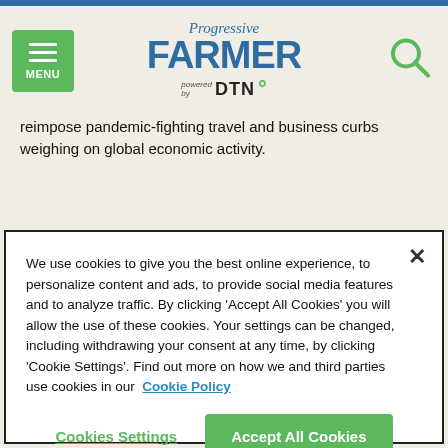Progressive Farmer powered by DTN
reimpose pandemic-fighting travel and business curbs weighing on global economic activity.
We use cookies to give you the best online experience, to personalize content and ads, to provide social media features and to analyze traffic. By clicking 'Accept All Cookies' you will allow the use of these cookies. Your settings can be changed, including withdrawing your consent at any time, by clicking 'Cookie Settings'. Find out more on how we and third parties use cookies in our Cookie Policy
Cookies Settings | Accept All Cookies